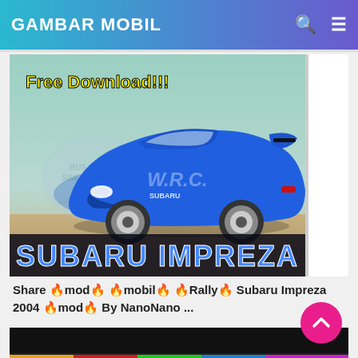GAMBAR MOBIL
[Figure (screenshot): Blue Subaru Impreza WRC car mod for Bus Simulator ID game. Shows 'Free Download!!!' text overlay, 'SUBARU IMPREZA' text at bottom, 'MOD BUSSID' text on right side, and Bus Simulator ID logo in background.]
Share 🔥mod🔥 🔥mobil🔥 🔥Rally🔥 Subaru Impreza 2004 🔥mod🔥 By NanoNano ...
[Figure (screenshot): Partially visible second image block at bottom, dark/black background]